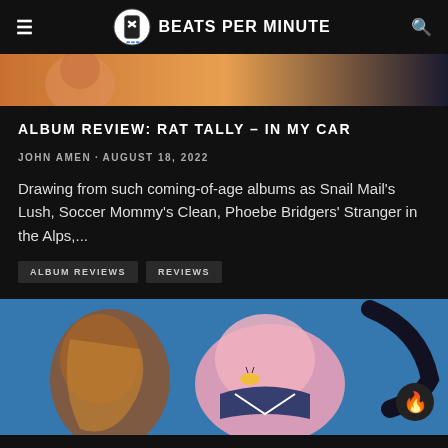BEATS PER MINUTE
[Figure (photo): Top image strip showing warm orange/amber tones, partial view of a person]
ALBUM REVIEW: RAT TALLY – IN MY CAR
JOHN AMEN · AUGUST 18, 2022
Drawing from such coming-of-age albums as Snail Mail's Lush, Soccer Mommy's Clean, Phoebe Bridgers' Stranger in the Alps,...
ALBUM REVIEWS   REVIEWS
[Figure (photo): Illustration/painting showing cartoon-style characters in blue background, one appearing to be a pink blob in a sailor outfit with another character, with a fire emoji button overlay]